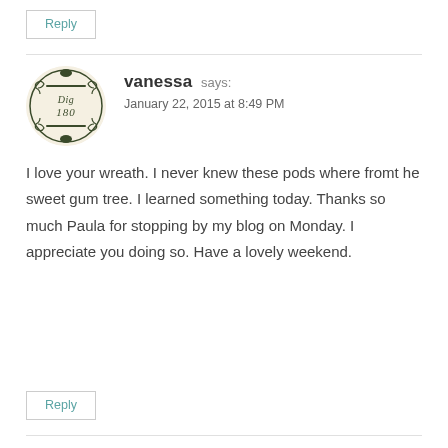Reply
[Figure (illustration): Circular avatar/logo for 'Dig 180' blog — cream/beige background with ornate dark green vintage decorative border and scrollwork, with 'Dig 180' written in cursive script in the center.]
vanessa says:
January 22, 2015 at 8:49 PM
I love your wreath. I never knew these pods where fromt he sweet gum tree. I learned something today. Thanks so much Paula for stopping by my blog on Monday. I appreciate you doing so. Have a lovely weekend.
Reply